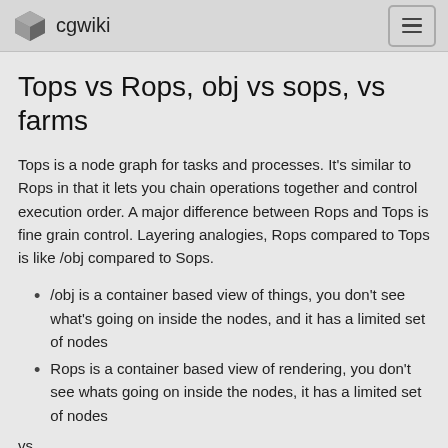cgwiki
Tops vs Rops, obj vs sops, vs farms
Tops is a node graph for tasks and processes. It's similar to Rops in that it lets you chain operations together and control execution order. A major difference between Rops and Tops is fine grain control. Layering analogies, Rops compared to Tops is like /obj compared to Sops.
/obj is a container based view of things, you don't see what's going on inside the nodes, and it has a limited set of nodes
Rops is a container based view of rendering, you don't see whats going on inside the nodes, it has a limited set of nodes
vs